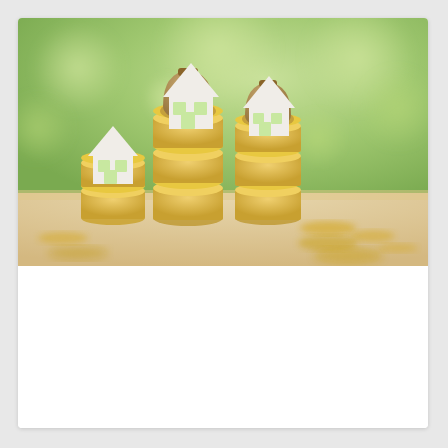[Figure (photo): Photo of stacks of gold coins with paper cut-out house figures on top and money bags with dollar signs, set against a blurred green bokeh background with a wooden table surface in the foreground.]
MORTGAGE & FINANCE
How to Find Down Payment Funds Quickly